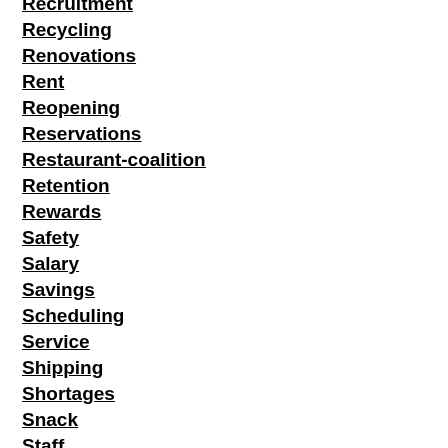Recruitment
Recycling
Renovations
Rent
Reopening
Reservations
Restaurant-coalition
Retention
Rewards
Safety
Salary
Savings
Scheduling
Service
Shipping
Shortages
Snack
Staff
Staffing